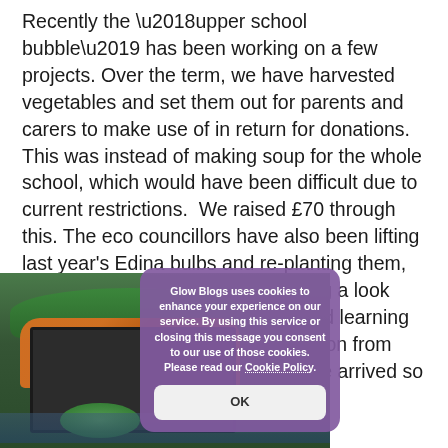Recently the ‘upper school bubble’ has been working on a few projects. Over the term, we have harvested vegetables and set them out for parents and carers to make use of in return for donations. This was instead of making soup for the whole school, which would have been difficult due to current restrictions.  We raised £70 through this. The eco councillors have also been lifting last year’s Edina bulbs and re-planting them, re-filling the bird feeders and having a look through the outdoor curricular linked learning resources, paid for by a kind donation from Dalbeattie Rotary Club,  which have arrived so far.
[Figure (photo): Photo of harvested vegetables including carrots and greens in a black crate/raised bed, outdoors with green background]
Glow Blogs uses cookies to enhance your experience on our service. By using this service or closing this message you consent to our use of those cookies. Please read our Cookie Policy.
OK